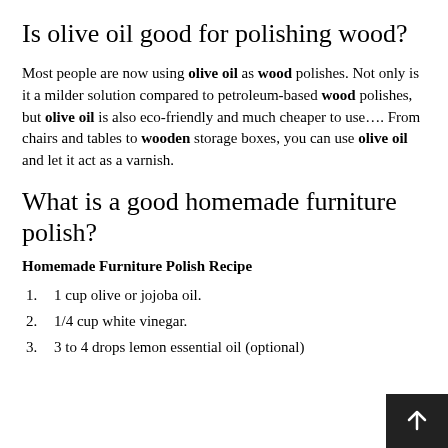Is olive oil good for polishing wood?
Most people are now using olive oil as wood polishes. Not only is it a milder solution compared to petroleum-based wood polishes, but olive oil is also eco-friendly and much cheaper to use.... From chairs and tables to wooden storage boxes, you can use olive oil and let it act as a varnish.
What is a good homemade furniture polish?
Homemade Furniture Polish Recipe
1 cup olive or jojoba oil.
1/4 cup white vinegar.
3 to 4 drops lemon essential oil (optional)